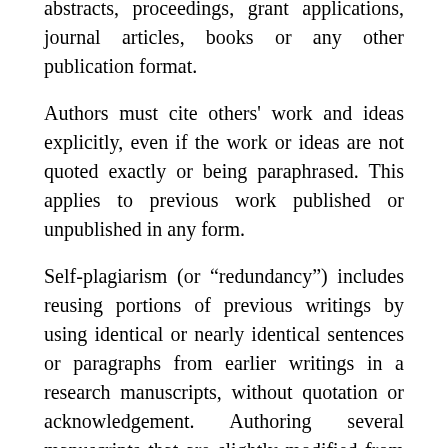abstracts, proceedings, grant applications, journal articles, books or any other publication format.
Authors must cite others' work and ideas explicitly, even if the work or ideas are not quoted exactly or being paraphrased. This applies to previous work published or unpublished in any form.
Self-plagiarism (or “redundancy”) includes reusing portions of previous writings by using identical or nearly identical sentences or paragraphs from earlier writings in a research manuscripts, without quotation or acknowledgement. Authoring several manuscripts that are slightly modified from each other and submitted for publication in different journals without acknowledgement of the other manuscript/articles is also a form of self-plagiarism.
Self-plagiarism is not generally regarded in the same light as plagiarism of the ideas and words of other researchers. Self-